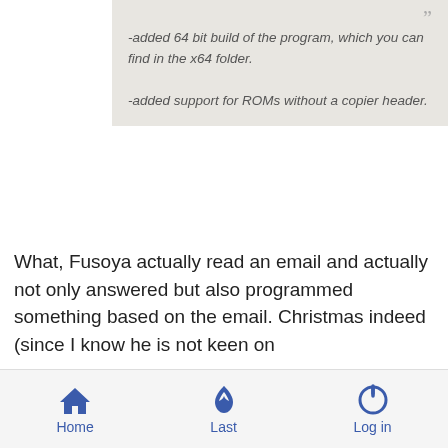“” -added 64 bit build of the program, which you can find in the x64 folder. -added support for ROMs without a copier header.
What, Fusoya actually read an email and actually not only answered but also programmed something based on the email. Christmas indeed (since I know he is not keen on reading/answering emails).
FRI 25 DEC 2015 - 16:34
by Conn
Reply to topic
I guess for SePH it is Christmas and birthday in one go ^^
Home  Last  Log in